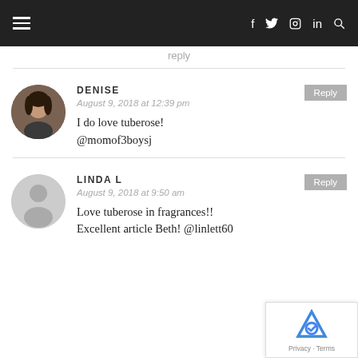Navigation bar with hamburger menu and social icons (f, Twitter, Instagram, LinkedIn, Search)
reply
DENISE
August 9, 2018 at 12:39 pm
I do love tuberose!
@momof3boysj
LINDA L
August 9, 2018 at 9:50 am
Love tuberose in fragrances!!
Excellent article Beth! @linlett60